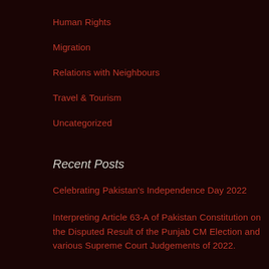Human Rights
Migration
Relations with Neighbours
Travel & Tourism
Uncategorized
Recent Posts
Celebrating Pakistan's Independence Day 2022
Interpreting Article 63-A of Pakistan Constitution on the Disputed Result of the Punjab CM Election and various Supreme Court Judgements of 2022.